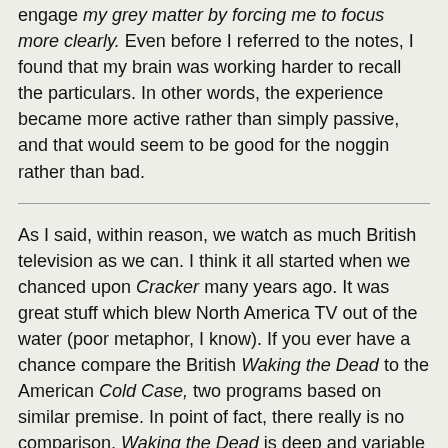engage my grey matter by forcing me to focus more clearly. Even before I referred to the notes, I found that my brain was working harder to recall the particulars. In other words, the experience became more active rather than simply passive, and that would seem to be good for the noggin rather than bad.
As I said, within reason, we watch as much British television as we can. I think it all started when we chanced upon Cracker many years ago. It was great stuff which blew North America TV out of the water (poor metaphor, I know). If you ever have a chance compare the British Waking the Dead to the American Cold Case, two programs based on similar premise. In point of fact, there really is no comparison. Waking the Dead is deep and variable while Cold Case employs the same banal and predictable formula every darn week. The ghosts (you know what I mean if you watch it) and the music do help to make Cold Case watchable, but I think that most would agree that it's pretty thin.
Over the years, we have watched Prime Suspect, Inspector